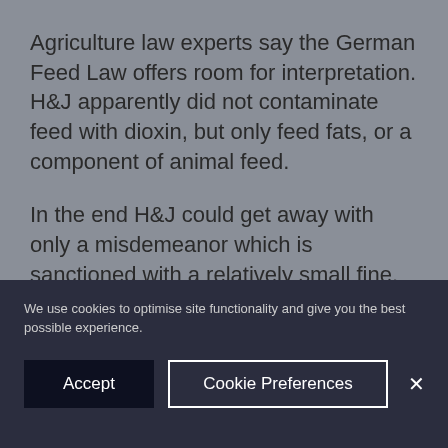Agriculture law experts say the German Feed Law offers room for interpretation. H&J apparently did not contaminate feed with dioxin, but only feed fats, or a component of animal feed.
In the end H&J could get away with only a misdemeanor which is sanctioned with a relatively small fine.
Intended or not?
We use cookies to optimise site functionality and give you the best possible experience.